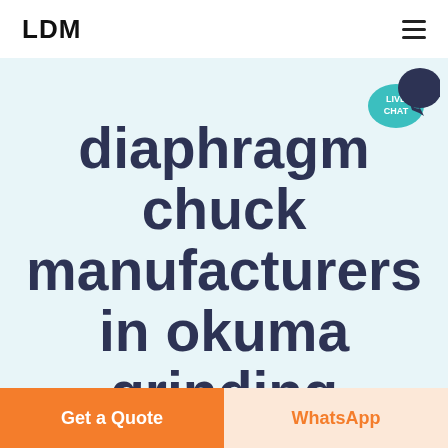LDM
[Figure (logo): Live Chat bubble badge icon in teal/dark blue with text LIVE CHAT]
diaphragm chuck manufacturers in okuma grinding machine
Get a Quote
WhatsApp